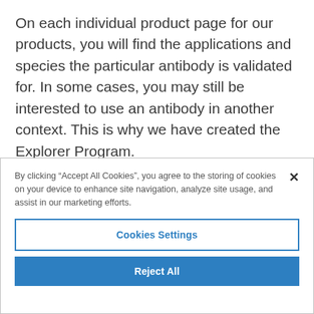On each individual product page for our products, you will find the applications and species the particular antibody is validated for. In some cases, you may still be interested to use an antibody in another context. This is why we have created the Explorer Program.

You are welcome to participate in the Explorer Program if you plan to use our antibodies in an
By clicking “Accept All Cookies”, you agree to the storing of cookies on your device to enhance site navigation, analyze site usage, and assist in our marketing efforts.
Cookies Settings
Reject All